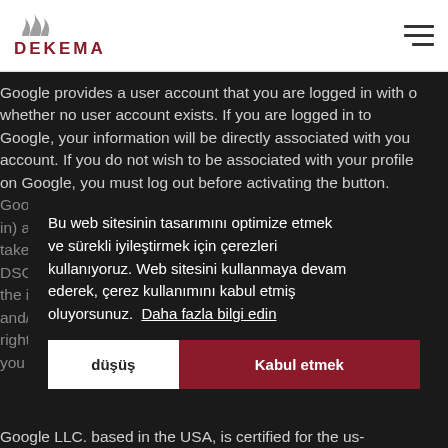DEKEMA
Google provides a user account that you are logged in with or whether no user account exists. If you are logged in to Google, your information will be directly associated with your account. If you do not wish to be associated with your profile on Google, you must log out before activating the button. Google saves your data (even for users who are not logged in) as usage profiles and evaluates them. Such an evaluation takes place in particular according to art. 6 para. 1 lit.f DSGVO on the basis of the legitimate interests of Google in the insertion of personalized advertising, market research and/or demand-oriented design of its website. You have the right to object to the creation of these user profiles, whereby you must contact YouTube to exercise this right.
Bu web sitesinin tasarımını optimize etmek ve sürekli iyileştirmek için çerezleri kullanıyoruz. Web sitesini kullanmaya devam ederek, çerez kullanımını kabul etmiş oluyorsunuz. Daha fazla bilgi edin
düşüş   Kabul etmek
Google LLC. based in the USA, is certified for the us-